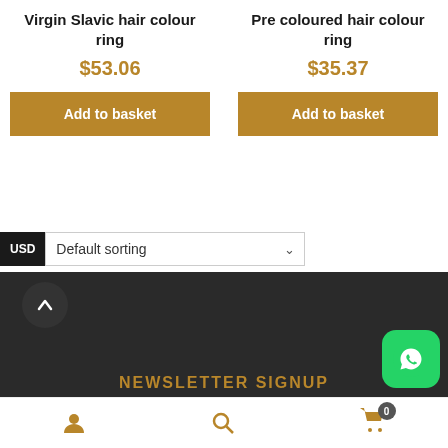Virgin Slavic hair colour ring
$53.06
Add to basket
Pre coloured hair colour ring
$35.37
Add to basket
Default sorting
Showing all 10 results
NEWSLETTER SIGNUP